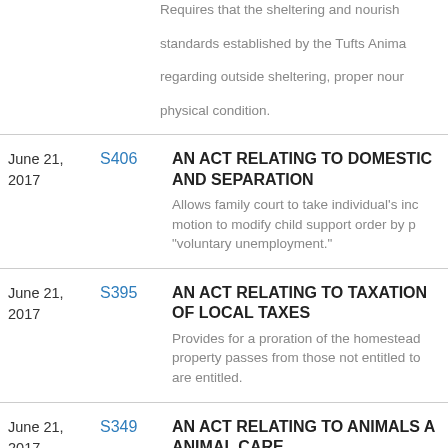Requires that the sheltering and nourishment standards established by the Tufts Animal regarding outside sheltering, proper nourishment physical condition.
June 21, 2017
S406
AN ACT RELATING TO DOMESTIC AND SEPARATION
Allows family court to take individual's income motion to modify child support order by providing "voluntary unemployment."
June 21, 2017
S395
AN ACT RELATING TO TAXATION OF LOCAL TAXES
Provides for a proration of the homestead property passes from those not entitled to are entitled.
June 21, 2017
S349
AN ACT RELATING TO ANIMALS AND ANIMAL CARE
Imposes on breeders requirements already agencies.